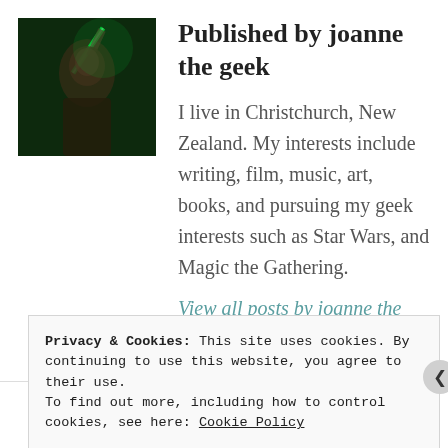[Figure (photo): Author photo of joanne the geek — a person holding a green lightsaber in a dark green-lit scene, styled like a Jedi warrior]
Published by joanne the geek
I live in Christchurch, New Zealand. My interests include writing, film, music, art, books, and pursuing my geek interests such as Star Wars, and Magic the Gathering.
View all posts by joanne the geek
Privacy & Cookies: This site uses cookies. By continuing to use this website, you agree to their use.
To find out more, including how to control cookies, see here: Cookie Policy
Close and accept